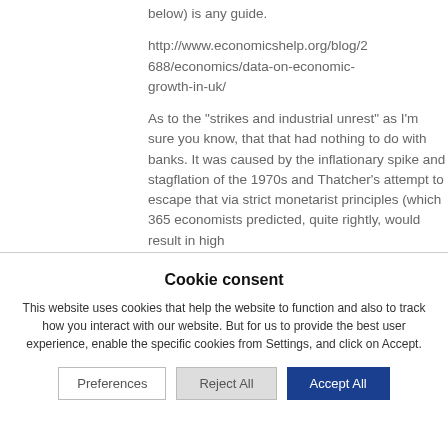below) is any guide.
http://www.economicshelp.org/blog/2688/economics/data-on-economic-growth-in-uk/
As to the “strikes and industrial unrest” as I’m sure you know, that that had nothing to do with banks. It was caused by the inflationary spike and stagflation of the 1970s and Thatcher’s attempt to escape that via strict monetarist principles (which 365 economists predicted, quite rightly, would result in high
Cookie consent
This website uses cookies that help the website to function and also to track how you interact with our website. But for us to provide the best user experience, enable the specific cookies from Settings, and click on Accept.
Preferences
Reject All
Accept All